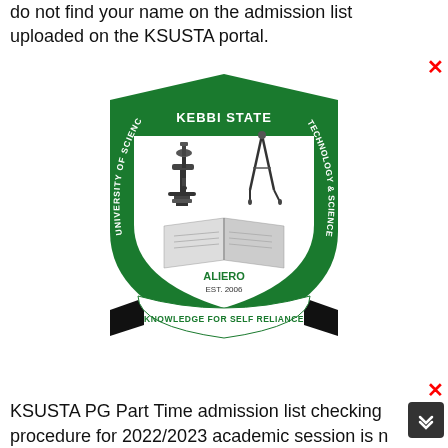do not find your name on the admission list uploaded on the KSUSTA portal.
[Figure (logo): Kebbi State University of Science & Technology Aliero (KSUSTA) crest/logo. A shield-shaped emblem with green border. Top reads KEBBI STATE in white bold text on green background. Center shows a microscope and drafting compass over an open book. Left side reads UNIVERSITY OF SCIENCE & TECHNOLOGY vertically in white on green. Bottom center reads ALIERO EST. 2006. Below the shield is a black banner ribbon with green text reading KNOWLEDGE FOR SELF RELIANCE.]
KSUSTA PG Part Time admission list checking procedure for 2022/2023 academic session is n...